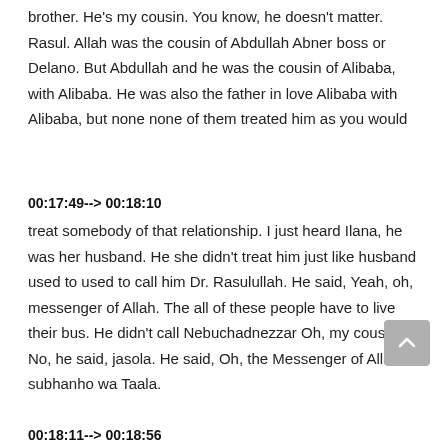brother. He's my cousin. You know, he doesn't matter. Rasul. Allah was the cousin of Abdullah Abner boss or Delano. But Abdullah and he was the cousin of Alibaba, with Alibaba. He was also the father in love Alibaba with Alibaba, but none none of them treated him as you would
00:17:49--> 00:18:10
treat somebody of that relationship. I just heard Ilana, he was her husband. He she didn't treat him just like husband used to used to call him Dr. Rasulullah. He said, Yeah, oh, messenger of Allah. The all of these people have to live their bus. He didn't call Nebuchadnezzar Oh, my cousin. No, he said, jasola. He said, Oh, the Messenger of Allah subhanho wa Taala.
00:18:11--> 00:18:56